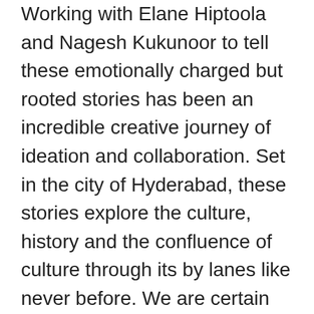Working with Elane Hiptoola and Nagesh Kukunoor to tell these emotionally charged but rooted stories has been an incredible creative journey of ideation and collaboration. Set in the city of Hyderabad, these stories explore the culture, history and the confluence of culture through its by lanes like never before. We are certain that these stories will make you smile, laugh, pine, cry and restore your faith in the power of love.""We are delighted to partner with Amazon Prime Video for a prestigious international franchise like Modern Love which has touched the hearts of fans and